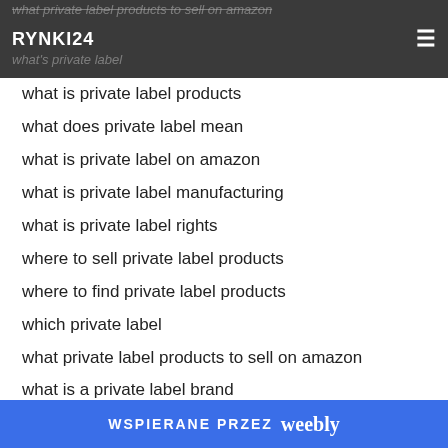RYNKI24
what is private label products
what does private label mean
what is private label on amazon
what is private label manufacturing
what is private label rights
where to sell private label products
where to find private label products
which private label
what private label products to sell on amazon
what is a private label brand
wat is private label
best private label
most famous private label brands
how much does private label cost
which private label
WSPIERANE PRZEZ weebly